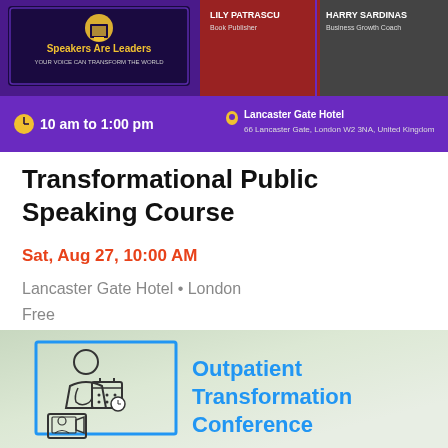[Figure (infographic): Speakers Are Leaders event banner with purple background showing Lily Patrascu (Book Publisher) and Harry Sardinas (Business Growth Coach), with time 10 am to 1:00 pm and location Lancaster Gate Hotel, 66 Lancaster Gate, London W2 3NA, United Kingdom]
Transformational Public Speaking Course
Sat, Aug 27, 10:00 AM
Lancaster Gate Hotel • London
Free
[Figure (infographic): Outpatient Transformation Conference infographic with icons of a doctor with calendar and a telehealth screen, blue text on light green/grey background]